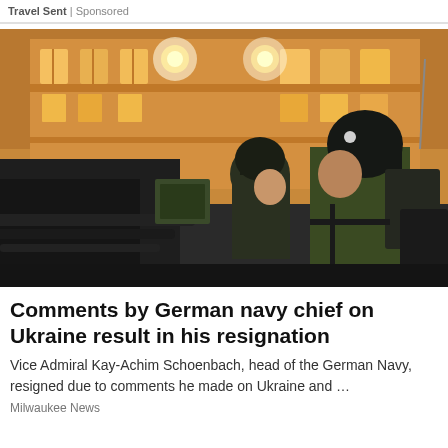Travel Sent | Sponsored
[Figure (photo): Two soldiers in military gear and helmets on an armored vehicle at night, with a lit building in the background]
Comments by German navy chief on Ukraine result in his resignation
Vice Admiral Kay-Achim Schoenbach, head of the German Navy, resigned due to comments he made on Ukraine and …
Milwaukee News